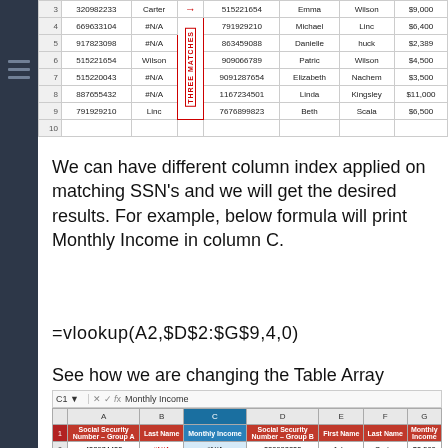[Figure (screenshot): Partial Excel spreadsheet showing rows 3-10 with SSN data, #N/A values, and a 'THREE MATCHES' vertical label with red arrow]
We can have different column index applied on matching SSN's and we will get the desired results. For example, below formula will print Monthly Income in column C.
See how we are changing the Table Array selection and column Index Number to get the result.
[Figure (screenshot): Excel spreadsheet with formula bar showing 'Monthly Income', columns A-G with Social Security Number Group A, Last Name, Monthly Income (blue), Social Security Number Group B, First Name, Last Name, Monthly Income headers. Row 1 headers, row 2 with 432974433/#N/A/#N/A, row 3 with 320982233/Carter/$3,500]